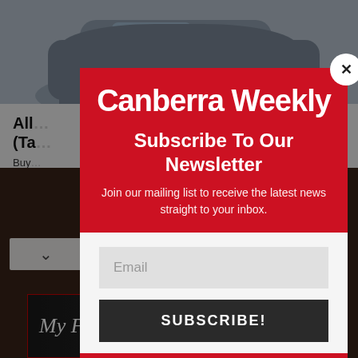[Figure (screenshot): Background webpage showing a car image at top, partial article text about a vehicle, and a dark brown article photo area below. A small banner ad for 'My Fair Lady' show is visible at the bottom.]
[Figure (screenshot): Modal popup overlay for Canberra Weekly newsletter subscription. Contains Canberra Weekly logo text in white on red background, 'Subscribe To Our Newsletter' heading, description text 'Join our mailing list to receive the latest news straight to your inbox.', an email input field, and a SUBSCRIBE! button. A close (X) button appears in the top right corner.]